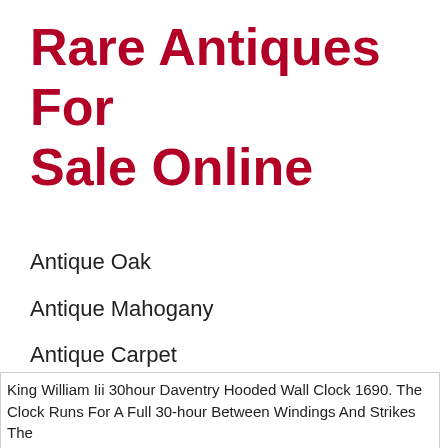Rare Antiques For Sale Online
Antique Oak
Antique Mahogany
Antique Carpet
Antique Painting
Antique Glass
Antique Plate
King William Iii 30hour Daventry Hooded Wall Clock 1690. The Clock Runs For A Full 30-hour Between Windings And Strikes The